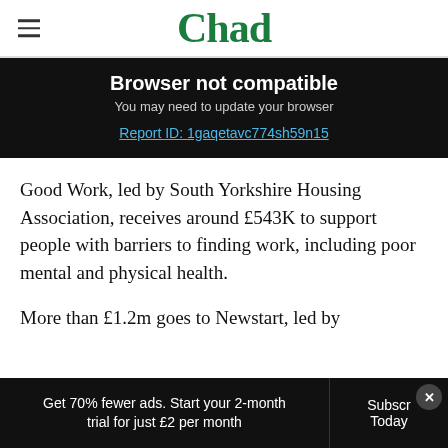Chad
Browser not compatible
You may need to update your browser
Report ID: 1gaqetavc774sh59n15
Good Work, led by South Yorkshire Housing Association, receives around £543K to support people with barriers to finding work, including poor mental and physical health.
More than £1.2m goes to Newstart, led by
Get 70% fewer ads. Start your 2-month trial for just £2 per month  Subscribe Today